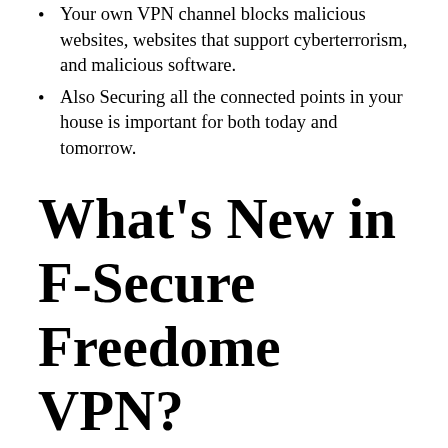Your own VPN channel blocks malicious websites, websites that support cyberterrorism, and malicious software.
Also Securing all the connected points in your house is important for both today and tomorrow.
What's New in F-Secure Freedome VPN?
Currently, F-Secure Freedom is available.
Also Make a new virtual site and, as a result,